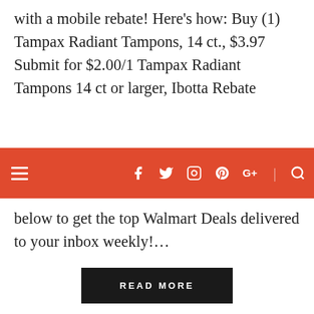with a mobile rebate! Here’s how: Buy (1) Tampax Radiant Tampons, 14 ct., $3.97 Submit for $2.00/1 Tampax Radiant Tampons 14 ct or larger, Ibotta Rebate
[Figure (screenshot): Red navigation bar with hamburger menu on left and social media icons (Facebook, Twitter, Instagram, Pinterest, Google+, Search) on right]
below to get the top Walmart Deals delivered to your inbox weekly!…
READ MORE
[Figure (screenshot): Social share buttons at bottom: Facebook, Twitter, Pinterest Save, Google+, and a back-to-top arrow button]